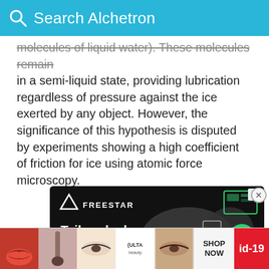Search Alchetron
molecules of liquid water). These molecules remain in a semi-liquid state, providing lubrication regardless of pressure against the ice exerted by any object. However, the significance of this hypothesis is disputed by experiments showing a high coefficient of friction for ice using atomic force microscopy.
[Figure (screenshot): Freestar advertisement banner showing 'Tailored ad management' text on dark background with decorative graphic elements]
[Figure (screenshot): Bottom advertisement bar showing beauty product images, ULTA Beauty logo, SHOP NOW button, and id-19 tag]